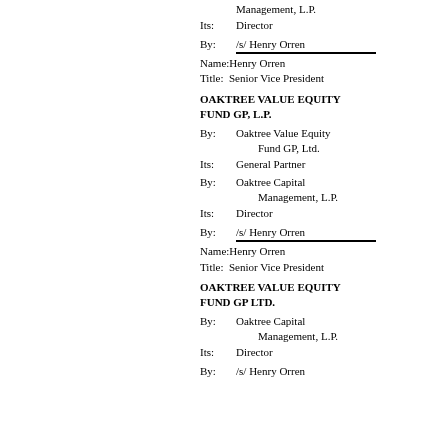Management, L.P.
Its:    Director
By:     /s/ Henry Orren
Name: Henry Orren
Title:  Senior Vice President
OAKTREE VALUE EQUITY FUND GP, L.P.
By:     Oaktree Value Equity Fund GP, Ltd.
Its:    General Partner
By:     Oaktree Capital Management, L.P.
Its:    Director
By:     /s/ Henry Orren
Name: Henry Orren
Title:  Senior Vice President
OAKTREE VALUE EQUITY FUND GP LTD.
By:     Oaktree Capital Management, L.P.
Its:    Director
By:     /s/ Henry Orren